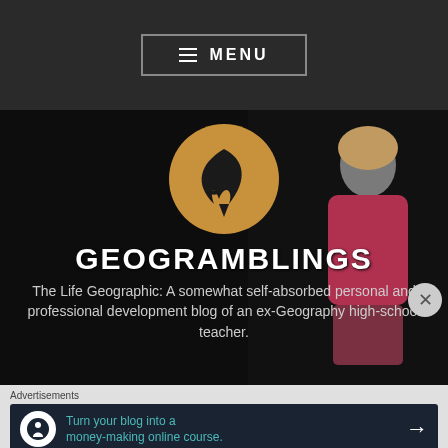≡ MENU
[Figure (logo): GeoGramblings logo: a golden/tan circle with a feather quill pen and world map silhouette in black]
GEOGRAMBLINGS
The Life Geographic: A somewhat self-absorbed personal and professional development blog of an ex-Geography high-school teacher.
Advertisements
[Figure (screenshot): Advertisement banner: dark navy background with white circle icon showing a tree/person figure, teal text reading 'Turn your blog into a money-making online course.' with a white right arrow.]